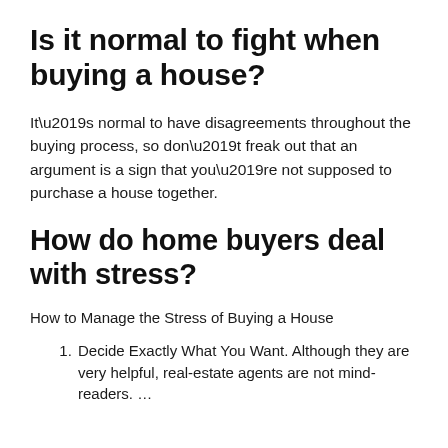Is it normal to fight when buying a house?
It’s normal to have disagreements throughout the buying process, so don’t freak out that an argument is a sign that you’re not supposed to purchase a house together.
How do home buyers deal with stress?
How to Manage the Stress of Buying a House
Decide Exactly What You Want. Although they are very helpful, real-estate agents are not mind-readers. …